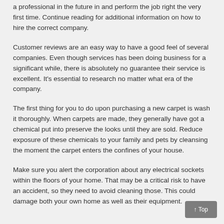a professional in the future in and perform the job right the very first time. Continue reading for additional information on how to hire the correct company.
Customer reviews are an easy way to have a good feel of several companies. Even though services has been doing business for a significant while, there is absolutely no guarantee their service is excellent. It's essential to research no matter what era of the company.
The first thing for you to do upon purchasing a new carpet is wash it thoroughly. When carpets are made, they generally have got a chemical put into preserve the looks until they are sold. Reduce exposure of these chemicals to your family and pets by cleansing the moment the carpet enters the confines of your house.
Make sure you alert the corporation about any electrical sockets within the floors of your home. That may be a critical risk to have an accident, so they need to avoid cleaning those. This could damage both your own home as well as their equipment.